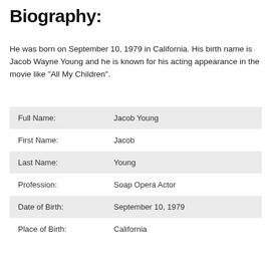Biography:
He was born on September 10, 1979 in California. His birth name is Jacob Wayne Young and he is known for his acting appearance in the movie like “All My Children”.
| Full Name: | Jacob Young |
| First Name: | Jacob |
| Last Name: | Young |
| Profession: | Soap Opera Actor |
| Date of Birth: | September 10, 1979 |
| Place of Birth: | California |